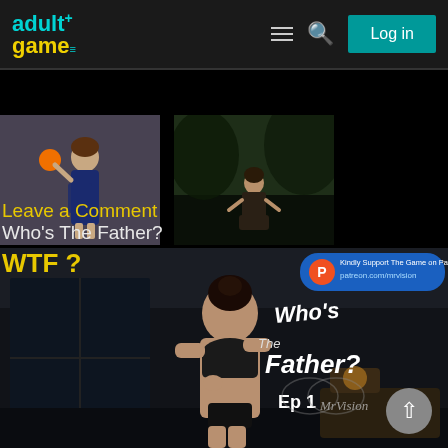adult+ game list — Log in
[Figure (screenshot): Thumbnail 1: 3D rendered woman in navy dress holding orange ball]
[Figure (screenshot): Thumbnail 2: 3D rendered woman in dark outdoor scene]
Leave a Comment
Who's The Father?
[Figure (screenshot): Game cover image for 'Who's The Father?' showing a 3D rendered woman in lingerie against a dark room background, with game title text overlay and patreon.com/mrvision branding. WTF? label visible. Ep 1.]